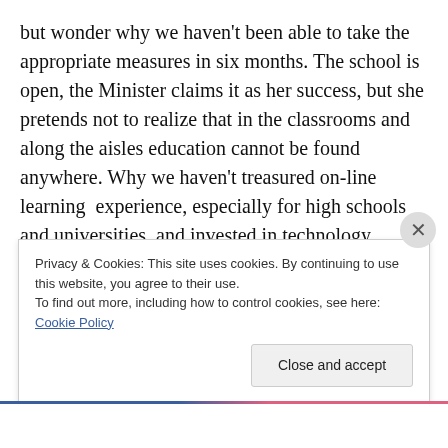but wonder why we haven't been able to take the appropriate measures in six months. The school is open, the Minister claims it as her success, but she pretends not to realize that in the classrooms and along the aisles education cannot be found anywhere. Why we haven't treasured on-line learning  experience, especially for high schools and universities, and invested in technology, bandwidth, for instance, rather than disclaiming it entirely, truly I cannot say. The only answer I can give is that keeping the on-line learning option would have meant admitting that the pandemic was not over and the return to
Privacy & Cookies: This site uses cookies. By continuing to use this website, you agree to their use.
To find out more, including how to control cookies, see here: Cookie Policy
Close and accept